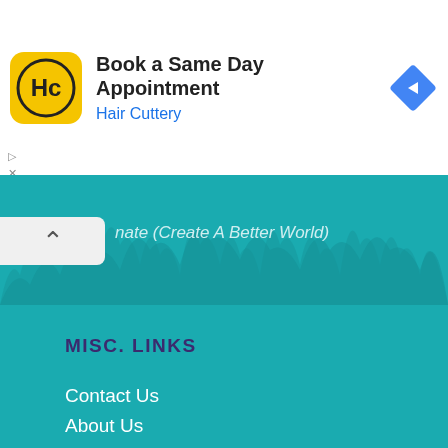[Figure (screenshot): Advertisement banner for Hair Cuttery with logo, 'Book a Same Day Appointment' text, and blue navigation arrow icon]
nate (Create A Better World)
MISC. LINKS
Contact Us
About Us
Products
Shipping & Returns
Questions
Donate
Affiliate & Ad Disclosure